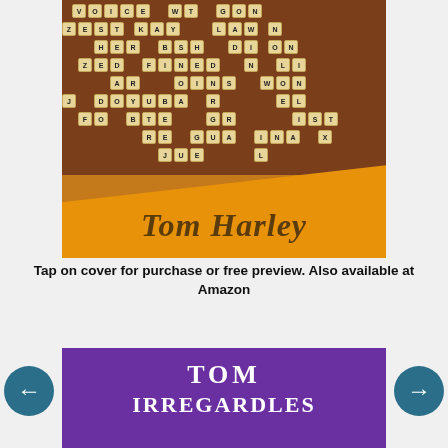[Figure (illustration): Book cover for a Tom Harley novel featuring a Scrabble board with letter tiles on a brown/dark background in the upper portion, and an orange torn-paper effect in the lower portion with the author name 'Tom Harley' in dark italic serif text on the orange background.]
Tap on cover for purchase or free preview. Also available at Amazon
[Figure (illustration): Partial book cover showing 'TOM IRREGARDLES' text in white serif letters on a purple background — bottom portion of the page.]